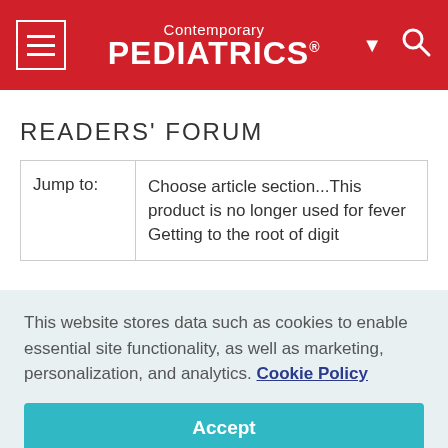Contemporary PEDIATRICS
READERS' FORUM
| Jump to: | Choose article section...This product is no longer used for fever Getting to the root of digit |
This website stores data such as cookies to enable essential site functionality, as well as marketing, personalization, and analytics. Cookie Policy
Accept
Deny